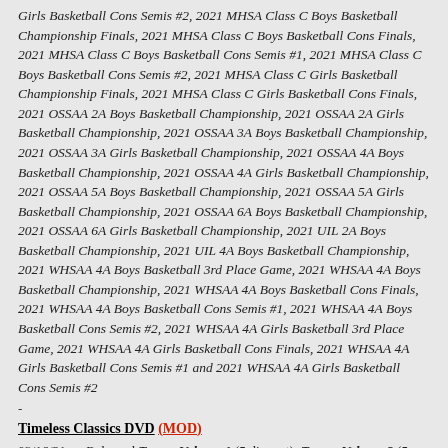Girls Basketball Cons Semis #2, 2021 MHSA Class C Boys Basketball Championship Finals, 2021 MHSA Class C Boys Basketball Cons Finals, 2021 MHSA Class C Boys Basketball Cons Semis #1, 2021 MHSA Class C Boys Basketball Cons Semis #2, 2021 MHSA Class C Girls Basketball Championship Finals, 2021 MHSA Class C Girls Basketball Cons Finals, 2021 OSSAA 2A Boys Basketball Championship, 2021 OSSAA 2A Girls Basketball Championship, 2021 OSSAA 3A Boys Basketball Championship, 2021 OSSAA 3A Girls Basketball Championship, 2021 OSSAA 4A Boys Basketball Championship, 2021 OSSAA 4A Girls Basketball Championship, 2021 OSSAA 5A Boys Basketball Championship, 2021 OSSAA 5A Girls Basketball Championship, 2021 OSSAA 6A Boys Basketball Championship, 2021 OSSAA 6A Girls Basketball Championship, 2021 UIL 2A Boys Basketball Championship, 2021 UIL 4A Boys Basketball Championship, 2021 WHSAA 4A Boys Basketball 3rd Place Game, 2021 WHSAA 4A Boys Basketball Championship, 2021 WHSAA 4A Boys Basketball Cons Finals, 2021 WHSAA 4A Boys Basketball Cons Semis #1, 2021 WHSAA 4A Boys Basketball Cons Semis #2, 2021 WHSAA 4A Girls Basketball 3rd Place Game, 2021 WHSAA 4A Girls Basketball Cons Finals, 2021 WHSAA 4A Girls Basketball Cons Semis #1 and 2021 WHSAA 4A Girls Basketball Cons Semis #2
-
Timeless Classics DVD (MOD)
03/16/21 — Released Texan, Volume 1 (5 disc set), Texan, Volume 2 (5 disc set) and Trooper Hook
-